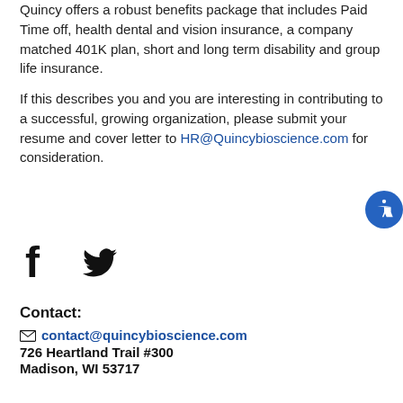Quincy offers a robust benefits package that includes Paid Time off, health dental and vision insurance, a company matched 401K plan, short and long term disability and group life insurance.
If this describes you and you are interesting in contributing to a successful, growing organization, please submit your resume and cover letter to HR@Quincybioscience.com for consideration.
[Figure (illustration): Social media icons: Facebook and Twitter logos in black]
Contact:
contact@quincybioscience.com
726 Heartland Trail #300
Madison, WI 53717